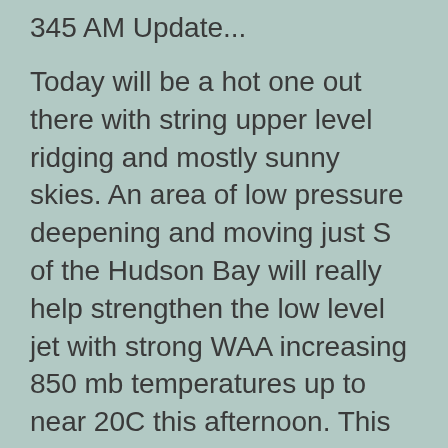345 AM Update...
Today will be a hot one out there with string upper level ridging and mostly sunny skies. An area of low pressure deepening and moving just S of the Hudson Bay will really help strengthen the low level jet with strong WAA increasing 850 mb temperatures up to near 20C this afternoon. This helps support widespread highs in the 90s. There is still some uncertainty